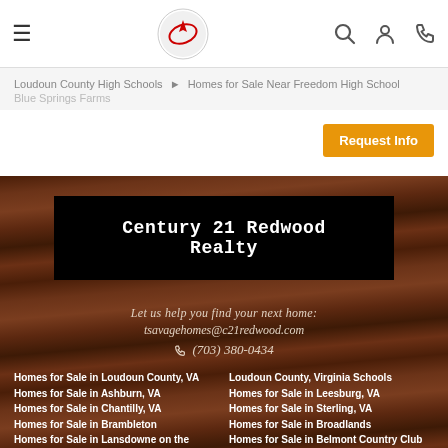☰ [logo] 🔍 👤 📞
Loudoun County High Schools ▶ Homes for Sale Near Freedom High School
Blue Springs Farms
Request Info
Century 21 Redwood Realty
Let us help you find your next home:
tsavagehomes@c21redwood.com
📞 (703) 380-0434
Homes for Sale in Loudoun County, VA
Homes for Sale in Ashburn, VA
Homes for Sale in Chantilly, VA
Homes for Sale in Brambleton
Homes for Sale in Lansdowne on the Potomac
Homes for Sale in South Riding
Loudoun County, Virginia Schools
Homes for Sale in Leesburg, VA
Homes for Sale in Sterling, VA
Homes for Sale in Broadlands
Homes for Sale in Belmont Country Club